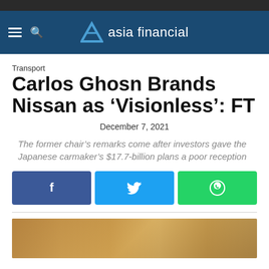asia financial
Transport
Carlos Ghosn Brands Nissan as 'Visionless': FT
December 7, 2021
The former chair's remarks come after investors gave the Japanese carmaker's $17.7-billion plans a poor reception
[Figure (screenshot): Social share buttons: Facebook (blue), Twitter (light blue), WhatsApp (green)]
[Figure (photo): Partial photo of a room interior with bookshelves visible at the bottom of the page]